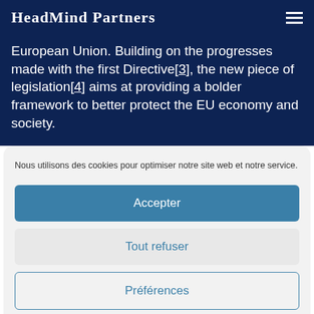HeadMind Partners
European Union. Building on the progresses made with the first Directive[3], the new piece of legislation[4] aims at providing a bolder framework to better protect the EU economy and society.
Nous utilisons des cookies pour optimiser notre site web et notre service.
Accepter
Tout refuser
Préférences
Utilisation des Cookies   Mentions légales